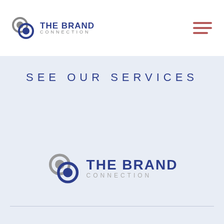[Figure (logo): The Brand Connection logo with chain-link icon, blue bold 'THE BRAND' and gray 'CONNECTION' text]
[Figure (other): Hamburger menu icon with three dark red/mauve horizontal lines]
SEE OUR SERVICES
[Figure (logo): The Brand Connection logo centered, large version with chain-link icon, blue 'THE BRAND' and gray 'CONNECTION']
[Figure (infographic): Four social media icons in navy blue: Instagram, Facebook, Twitter, Pinterest]